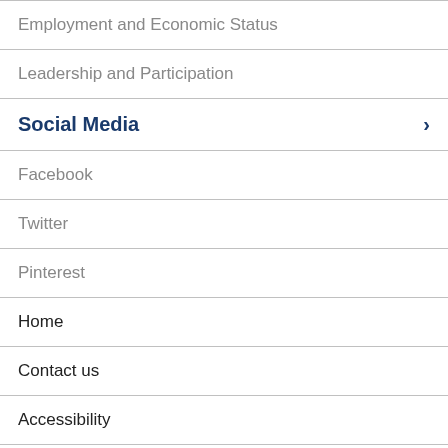Employment and Economic Status
Leadership and Participation
Social Media
Facebook
Twitter
Pinterest
Home
Contact us
Accessibility